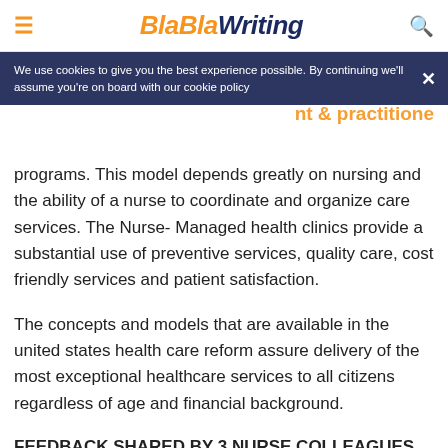BlaBlaWriting
We use cookies to give you the best experience possible. By continuing we'll assume you're on board with our cookie policy
programs. This model depends greatly on nursing and the ability of a nurse to coordinate and organize care services. The Nurse- Managed health clinics provide a substantial use of preventive services, quality care, cost friendly services and patient satisfaction.
The concepts and models that are available in the united states health care reform assure delivery of the most exceptional healthcare services to all citizens regardless of age and financial background.
FEEDBACK SHARED BY 3 NURSE COLLEAGUES
According to the 3 nurses point of view, healthcare transformations have taken place from one government